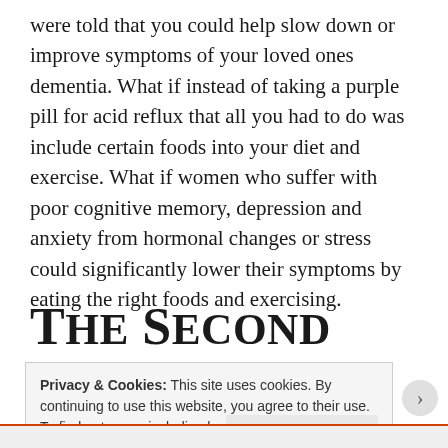were told that you could help slow down or improve symptoms of your loved ones dementia. What if instead of taking a purple pill for acid reflux that all you had to do was include certain foods into your diet and exercise. What if women who suffer with poor cognitive memory, depression and anxiety from hormonal changes or stress could significantly lower their symptoms by eating the right foods and exercising.
The Second Brain
Privacy & Cookies: This site uses cookies. By continuing to use this website, you agree to their use.
To find out more, including how to control cookies, see here: Cookie Policy
Close and accept